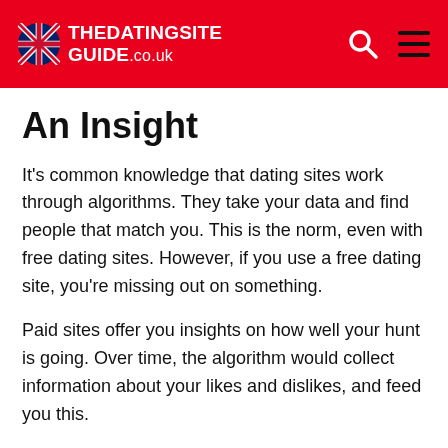THEDATINGSITE GUIDE.co.uk
An Insight
It's common knowledge that dating sites work through algorithms. They take your data and find people that match you. This is the norm, even with free dating sites. However, if you use a free dating site, you're missing out on something.
Paid sites offer you insights on how well your hunt is going. Over time, the algorithm would collect information about your likes and dislikes, and feed you this.
The data will be packaged in a nice description of your dating style. As you can imagine, this can be very useful